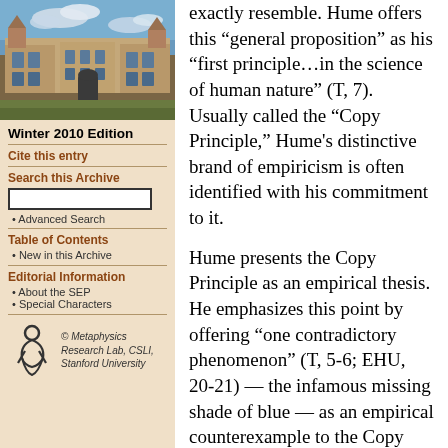[Figure (photo): Photograph of a historic sandstone university building with Gothic architecture against a partly cloudy sky]
Winter 2010 Edition
Cite this entry
Search this Archive
Advanced Search
Table of Contents
New in this Archive
Editorial Information
About the SEP
Special Characters
[Figure (logo): Metaphysics Research Lab, CSLI, Stanford University logo with stylized figure icon]
exactly resemble. Hume offers this “general proposition” as his “first principle…in the science of human nature” (T, 7). Usually called the “Copy Principle,” Hume’s distinctive brand of empiricism is often identified with his commitment to it.

Hume presents the Copy Principle as an empirical thesis. He emphasizes this point by offering “one contradictory phenomenon” (T, 5-6; EHU, 20-21) — the infamous missing shade of blue — as an empirical counterexample to the Copy Principle. Hume asks us to consider “a person to have enjoyed his sight for thirty